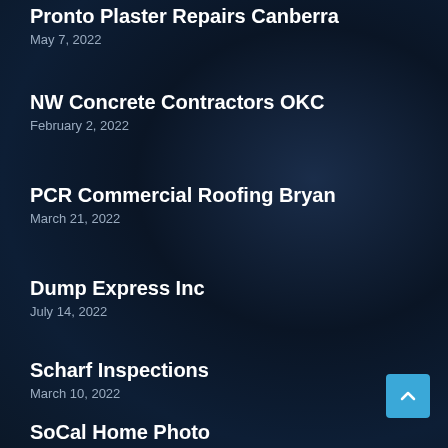Pronto Plaster Repairs Canberra
May 7, 2022
NW Concrete Contractors OKC
February 2, 2022
PCR Commercial Roofing Bryan
March 21, 2022
Dump Express Inc
July 14, 2022
Scharf Inspections
March 10, 2022
SoCal Home Photo
July 25, 2022